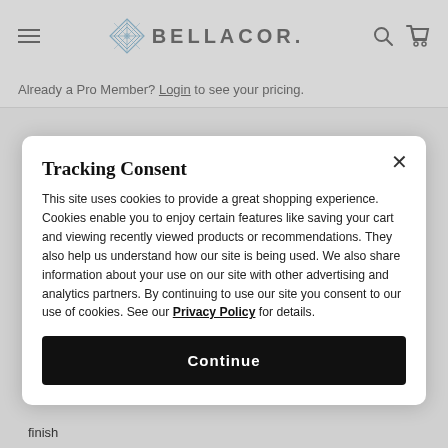BELLACOR.
Already a Pro Member? Login to see your pricing.
Tracking Consent
This site uses cookies to provide a great shopping experience. Cookies enable you to enjoy certain features like saving your cart and viewing recently viewed products or recommendations. They also help us understand how our site is being used. We also share information about your use on our site with other advertising and analytics partners. By continuing to use our site you consent to our use of cookies. See our Privacy Policy for details.
Continue
finish